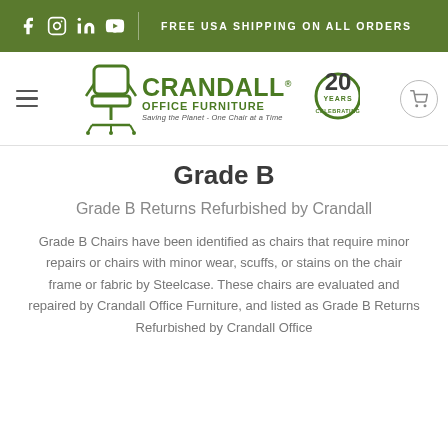FREE USA SHIPPING ON ALL ORDERS
[Figure (logo): Crandall Office Furniture logo with chair icon, 20 Years Celebrating badge, and tagline 'Saving the Planet - One Chair at a Time']
Grade B
Grade B Returns Refurbished by Crandall
Grade B Chairs have been identified as chairs that require minor repairs or chairs with minor wear, scuffs, or stains on the chair frame or fabric by Steelcase. These chairs are evaluated and repaired by Crandall Office Furniture, and listed as Grade B Returns Refurbished by Crandall Office Furniture. All products are guaranteed for